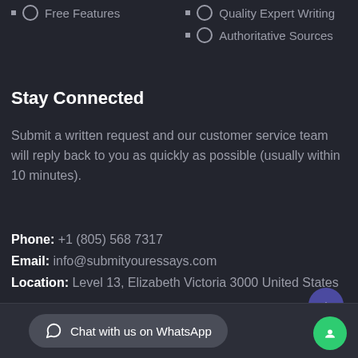Free Features
Quality Expert Writing
Authoritative Sources
Stay Connected
Submit a written request and our customer service team will reply back to you as quickly as possible (usually within 10 minutes).
Phone: +1 (805) 568 7317
Email: info@submityouressays.com
Location: Level 13, Elizabeth Victoria 3000 United States
Chat with us on WhatsApp